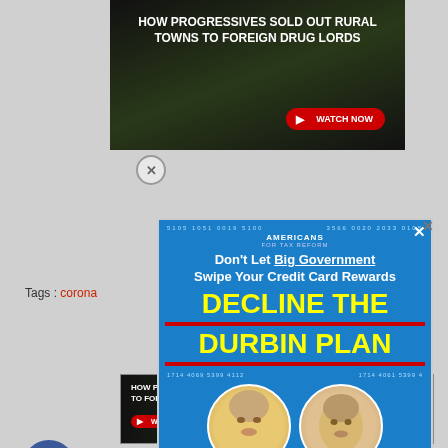[Figure (screenshot): Web page screenshot showing overlapping advertisements. Top: dark video ad 'HOW PROGRESSIVES SOLD OUT RURAL TOWNS TO FOREIGN DRUG LORDS' with WATCH NOW button. Center: popup modal ad for Americans for Tax Reform - 'Don't Let Big Government Swipe Your Credit Card Rewards DECLINE THE DURBIN PLAN' in yellow on blue background with images of Biden and Durbin. Bottom: smaller version of the top video ad (Narcofornia). Various close-X buttons visible. Tags area with 'Tags:' and partial red link text. Facebook share button.]